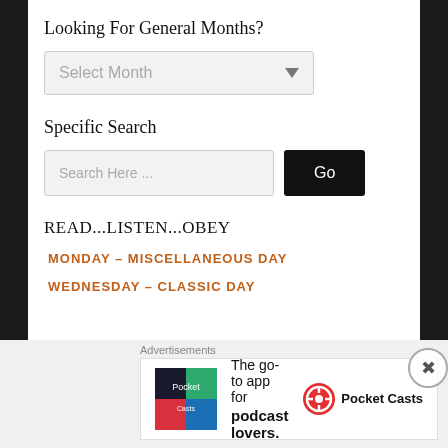Looking For General Months?
Select Month
Specific Search
Search Here ...
READ...LISTEN...OBEY
MONDAY – MISCELLANEOUS DAY
WEDNESDAY – CLASSIC DAY
Advertisements
The go-to app for podcast lovers. Pocket Casts